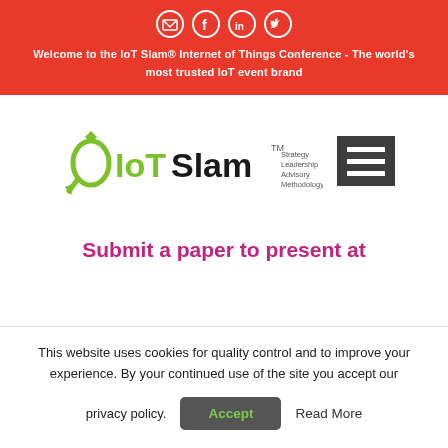Welcome to the IoT Slam® Internet of Things Conference - The world's most trusted IoT event brand
[Figure (logo): IoT Slam logo with green icon, IoT in green and Slam in black text, TM mark, and tagline Strategy Leadership Advisory Methodology]
Submit a paper to present at
This website uses cookies for quality control and to improve your experience. By your continued use of the site you accept our privacy policy. Accept  Read More